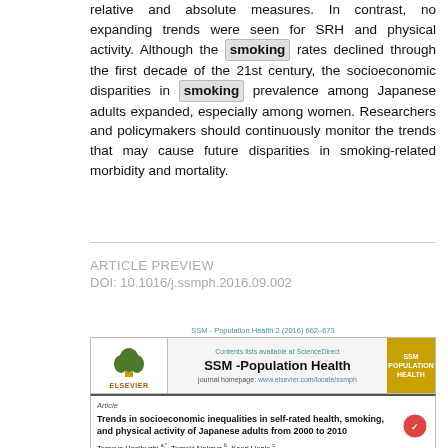relative and absolute measures. In contrast, no expanding trends were seen for SRH and physical activity. Although the smoking rates declined through the first decade of the 21st century, the socioeconomic disparities in smoking prevalence among Japanese adults expanded, especially among women. Researchers and policymakers should continuously monitor the trends that may cause future disparities in smoking-related morbidity and mortality.
ARTICLE PREVIEW
DOI: 10.1016/j.ssmph.2016.09.002
[Figure (other): Elsevier journal article preview thumbnail showing SSM - Population Health journal header with Elsevier logo, journal name, and article title: Trends in socioeconomic inequalities in self-rated health, smoking, and physical activity of Japanese adults from 2000 to 2010. Authors: Tomoya Hanibuchi, Tomoki Nakaya, Kaori Honjo.]